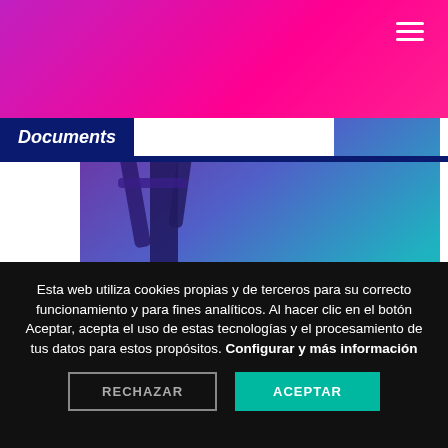Documents
[Figure (photo): Hero image of a stylized robot or person with robotic arm over their head, rendered with a purple-to-teal gradient overlay]
Esta web utiliza cookies propias y de terceros para su correcto funcionamiento y para fines analíticos. Al hacer clic en el botón Aceptar, acepta el uso de estas tecnologías y el procesamiento de tus datos para estos propósitos. Configurar y más información
RECHAZAR
ACEPTAR